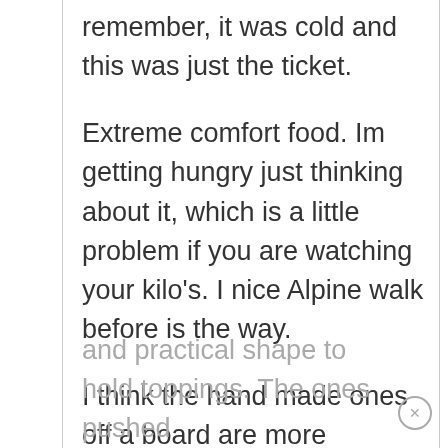remember, it was cold and this was just the ticket.

Extreme comfort food. Im getting hungry just thinking about it, which is a little problem if you are watching your kilo's. I nice Alpine walk before is the way.

I think the hand made ones off a board are more chracteristic as they get a more interesting and practical shape to hold toppings. The ones pushed